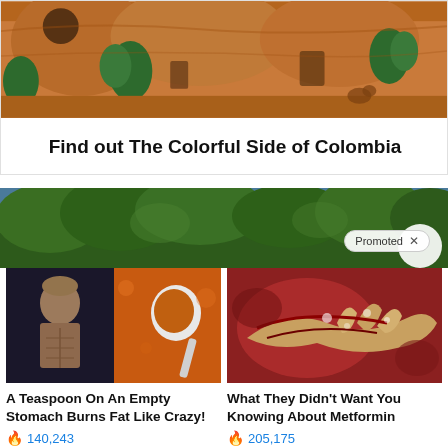[Figure (photo): Adobe-like clay building with arches and lush green trees, warm orange-brown tones]
Find out The Colorful Side of Colombia
[Figure (photo): Aerial view of dense green forest/jungle canopy]
Promoted X
[Figure (photo): Collage of fit woman and spoon with spice/powder]
A Teaspoon On An Empty Stomach Burns Fat Like Crazy!
140,243
[Figure (photo): Close-up medical image of internal organs, pancreas area]
What They Didn't Want You Knowing About Metformin
205,175